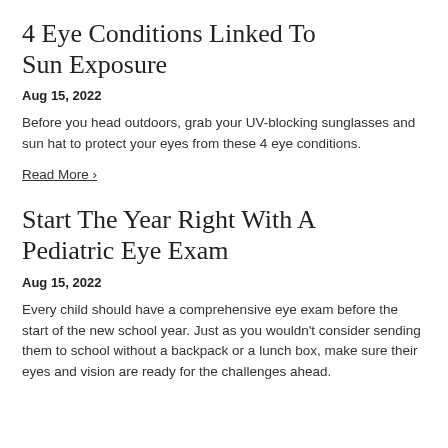4 Eye Conditions Linked To Sun Exposure
Aug 15, 2022
Before you head outdoors, grab your UV-blocking sunglasses and sun hat to protect your eyes from these 4 eye conditions.
Read More ›
Start The Year Right With A Pediatric Eye Exam
Aug 15, 2022
Every child should have a comprehensive eye exam before the start of the new school year. Just as you wouldn't consider sending them to school without a backpack or a lunch box, make sure their eyes and vision are ready for the challenges ahead.